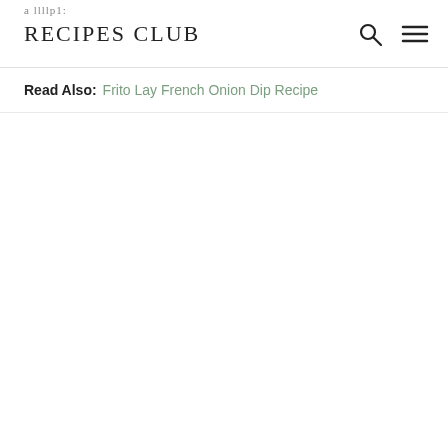RECIPES CLUB
Read Also: Frito Lay French Onion Dip Recipe